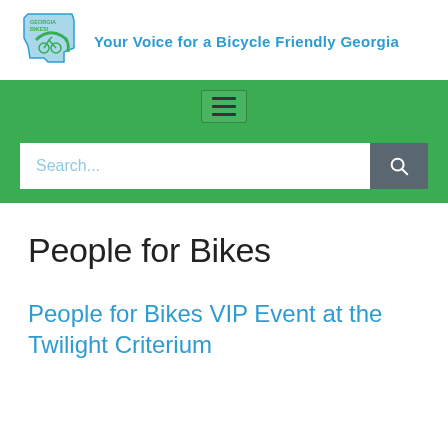[Figure (logo): Georgia Bikes logo with tagline 'Your Voice for a Bicycle Friendly Georgia']
People for Bikes
People for Bikes VIP Event at the Twilight Criterium